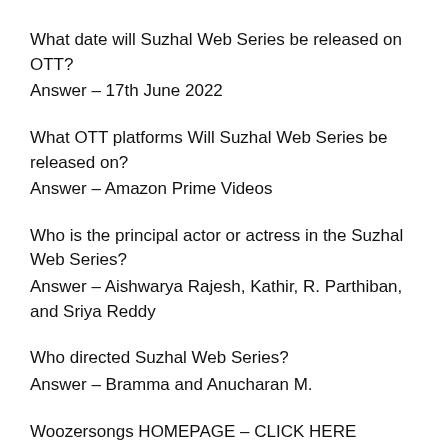What date will Suzhal Web Series be released on OTT?
Answer – 17th June 2022
What OTT platforms Will Suzhal Web Series be released on?
Answer – Amazon Prime Videos
Who is the principal actor or actress in the Suzhal Web Series?
Answer – Aishwarya Rajesh, Kathir, R. Parthiban, and Sriya Reddy
Who directed Suzhal Web Series?
Answer – Bramma and Anucharan M.
Woozersongs HOMEPAGE – CLICK HERE